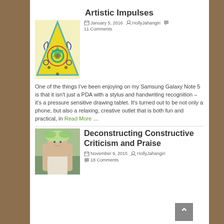Artistic Impulses
January 5, 2016  HollyJahangiri  11 Comments
[Figure (illustration): Yellow triangle with decorative mandala/geometric art in green and red on yellow background]
One of the things I've been enjoying on my Samsung Galaxy Note 5 is that it isn't just a PDA with a stylus and handwriting recognition – it's a pressure sensitive drawing tablet. It's turned out to be not only a phone, but also a relaxing, creative outlet that is both fun and practical, in Read More …
Deconstructing Constructive Criticism and Praise
[Figure (photo): Woman wearing a floral crown/wreath on her head, outdoor setting]
November 9, 2015  HollyJahangiri  18 Comments